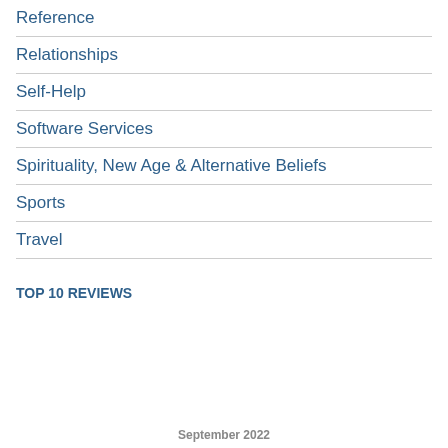Reference
Relationships
Self-Help
Software Services
Spirituality, New Age & Alternative Beliefs
Sports
Travel
TOP 10 REVIEWS
September 2022